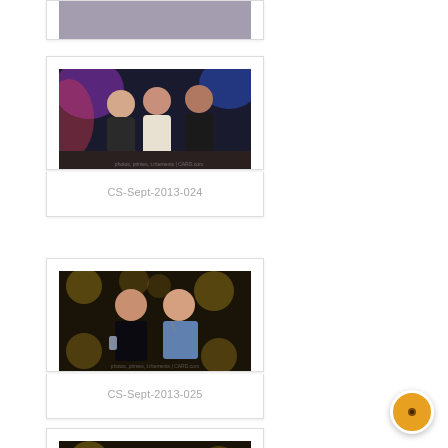[Figure (photo): Partial view of a photo card, top cut off]
[Figure (photo): Three women posing together at a nightclub/party event with colorful lighting in background]
CS-Sept-2013-024
[Figure (photo): Two women smiling and posing together in front of decorative black and gold wallpaper]
CS-Sept-2013-025
[Figure (photo): Partially visible photo card at bottom of page]